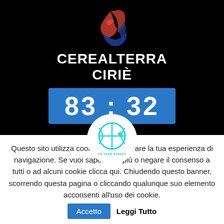[Figure (logo): Red and blue stylized letters logo (team logo) on black background]
CEREALTERRA CIRIÈ
83 : 32
[Figure (logo): CB Team Basket logo — cyan basketball with crosshair design inside white circle]
Questo sito utilizza cookie per migliorare la tua esperienza di navigazione. Se vuoi saperne di più o negare il consenso a tutti o ad alcuni cookie clicca qui. Chiudendo questo banner, scorrendo questa pagina o cliccando qualunque suo elemento acconsenti all'uso dei cookie.
Accetto
Leggi Tutto